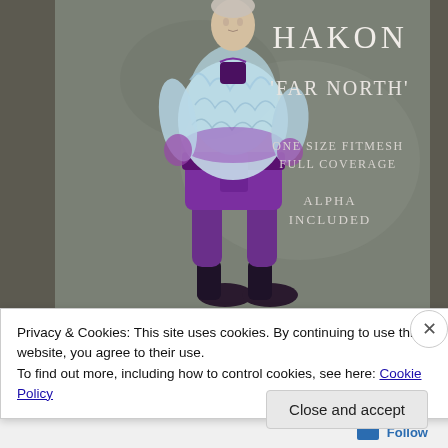[Figure (illustration): A 3D rendered male avatar wearing a fantasy outfit: a white and purple long-sleeve top with aurora/lightning pattern, purple sash belt, purple tunic/skirt, purple pants, and dark boots. Text overlays read: HAKON, 'FAR NORTH', ONE SIZE FITMESH, FULL COVERAGE, ALPHA, INCLUDED. Background is a muted grey-green.]
Privacy & Cookies: This site uses cookies. By continuing to use this website, you agree to their use.
To find out more, including how to control cookies, see here: Cookie Policy
Close and accept